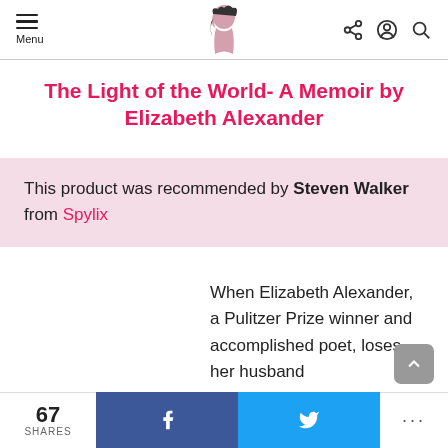Menu [hamburger icon] [logo] [share icon] [account icon] [search icon]
The Light of the World- A Memoir by Elizabeth Alexander
This product was recommended by Steven Walker from Spylix
When Elizabeth Alexander, a Pulitzer Prize winner and accomplished poet, loses her husband